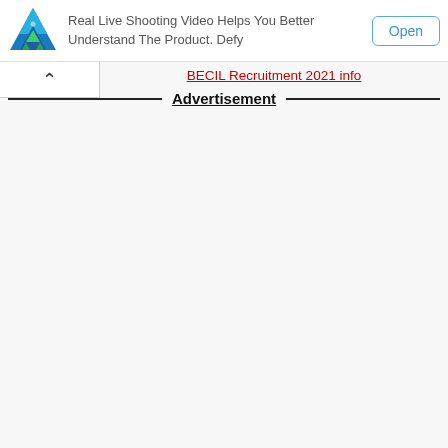[Figure (screenshot): Advertisement banner with app logo (blue/green triangular icon), text 'Real Live Shooting Video Helps You Better Understand The Product. Defy', and an 'Open' button with blue border]
BECIL Recruitment 2021 info
Advertisement